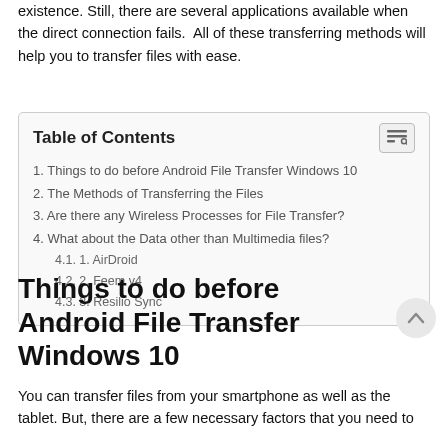existence. Still, there are several applications available when the direct connection fails.  All of these transferring methods will help you to transfer files with ease.
| Table of Contents |
| --- |
| 1. Things to do before Android File Transfer Windows 10 |
| 2. The Methods of Transferring the Files |
| 3. Are there any Wireless Processes for File Transfer? |
| 4. What about the Data other than Multimedia files? |
| 4.1. 1. AirDroid |
| 4.2. 2. Feem v4 |
| 4.3. 3. Resilio Sync |
Things to do before Android File Transfer Windows 10
You can transfer files from your smartphone as well as the tablet. But, there are a few necessary factors that you need to